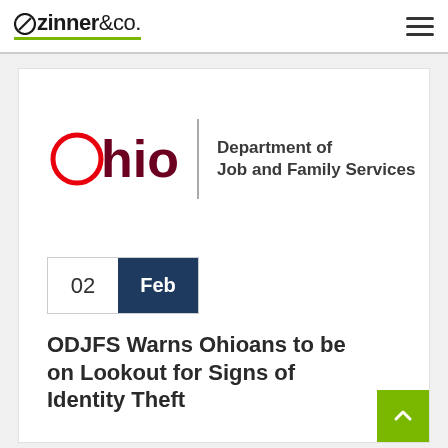Zinner & Co.
[Figure (logo): Ohio Department of Job and Family Services logo with red circle O, dark red 'hio' text, vertical bar separator, and bold text 'Department of Job and Family Services']
02 Feb
ODJFS Warns Ohioans to be on Lookout for Signs of Identity Theft